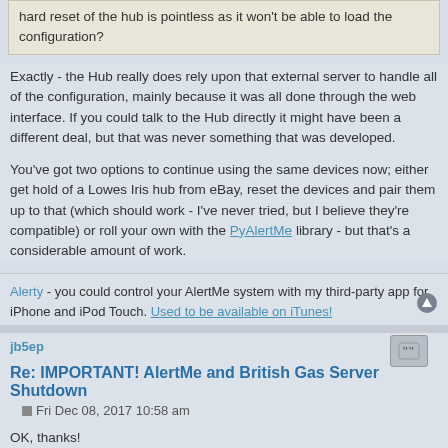hard reset of the hub is pointless as it won't be able to load the configuration?
Exactly - the Hub really does rely upon that external server to handle all of the configuration, mainly because it was all done through the web interface. If you could talk to the Hub directly it might have been a different deal, but that was never something that was developed.
You've got two options to continue using the same devices now; either get hold of a Lowes Iris hub from eBay, reset the devices and pair them up to that (which should work - I've never tried, but I believe they're compatible) or roll your own with the PyAlertMe library - but that's a considerable amount of work.
Alerty - you could control your AlertMe system with my third-party app for iPhone and iPod Touch. Used to be available on iTunes!
jb5ep
Re: IMPORTANT! AlertMe and British Gas Server Shutdown
Fri Dec 08, 2017 10:58 am
OK, thanks!